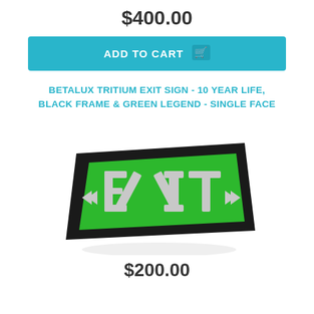$400.00
ADD TO CART
BETALUX TRITIUM EXIT SIGN - 10 YEAR LIFE, BLACK FRAME & GREEN LEGEND - SINGLE FACE
[Figure (photo): A Betalux tritium exit sign with a black frame and green background displaying 'EXIT' in silver/white letters, with double chevron arrows on both sides. The sign is shown at a slight angle.]
$200.00